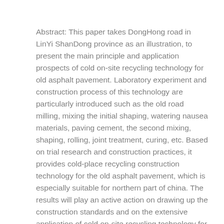Abstract: This paper takes DongHong road in LinYi ShanDong province as an illustration, to present the main principle and application prospects of cold on-site recycling technology for old asphalt pavement. Laboratory experiment and construction process of this technology are particularly introduced such as the old road milling, mixing the initial shaping, watering nausea materials, paving cement, the second mixing, shaping, rolling, joint treatment, curing, etc. Based on trial research and construction practices, it provides cold-place recycling construction technology for the old asphalt pavement, which is especially suitable for northern part of china. The results will play an active action on drawing up the construction standards and on the extensive application of cold on-site recycling technology for the old asphalt pavement for the future and also become the necessary way to reduce costs, save resources and develop circling economy.